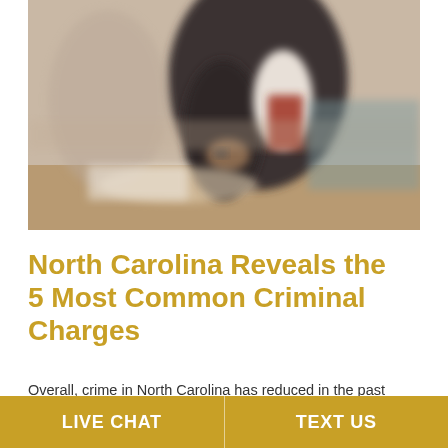[Figure (photo): Blurred close-up photo of a person in a dark suit holding papers or a folder, seated at what appears to be a courtroom or legal office desk. The image is motion-blurred with warm tones.]
North Carolina Reveals the 5 Most Common Criminal Charges
Overall, crime in North Carolina has reduced in the past year, according to a report recently released by
LIVE CHAT   TEXT US